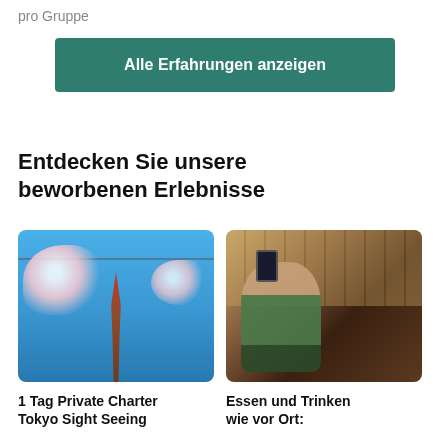pro Gruppe
Alle Erfahrungen anzeigen
Entdecken Sie unsere beworbenen Erlebnisse
[Figure (photo): Photo of Tokyo Skytree with cherry blossoms (sakura) in the foreground against a blue sky]
1 Tag Private Charter Tokyo Sight Seeing
[Figure (photo): Photo of people eating and drinking at a restaurant, someone holding a phone taking a picture]
Essen und Trinken wie vor Ort: